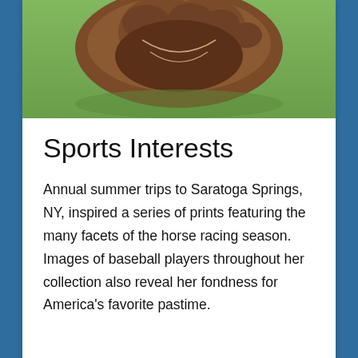[Figure (illustration): Partial view of an illustration showing a brown baseball glove or horse-related artwork on a green background, cropped at the top of the page.]
Sports Interests
Annual summer trips to Saratoga Springs, NY, inspired a series of prints featuring the many facets of the horse racing season.  Images of baseball players throughout her collection also reveal her fondness for America's favorite pastime.